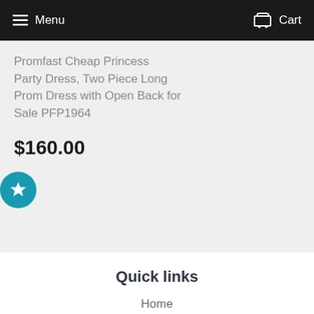Menu  Cart
Promfast Cheap Princess Party Dress, Two Piece Long Prom Dress with Open Back for Sale PFP1964
$160.00
Quick links
Home
About us
Contact us